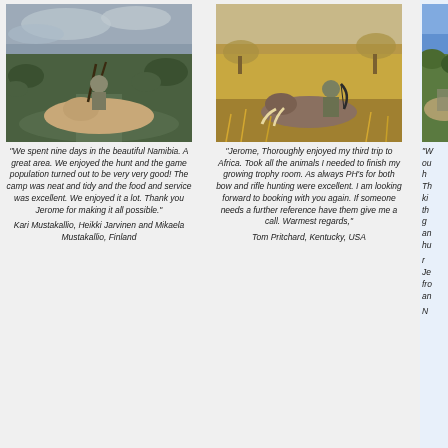[Figure (photo): Hunter posing with a harvested oryx (gemsbok) in a green bush area under overcast sky, Namibia]
"We spent nine days in the beautiful Namibia. A great area. We enjoyed the hunt and the game population turned out to be very very good! The camp was neat and tidy and the food and service was excellent. We enjoyed it a lot. Thank you Jerome for making it all possible."
Kari Mustakallio, Heikki Jarvinen and Mikaela Mustakallio, Finland
[Figure (photo): Hunter kneeling behind a harvested warthog in dry savanna grass, holding a compound bow]
"Jerome, Thoroughly enjoyed my third trip to Africa. Took all the animals I needed to finish my growing trophy room. As always PH's for both bow and rifle hunting were excellent. I am looking forward to booking with you again. If someone needs a further reference have them give me a call. Warmest regards,"
Tom Pritchard, Kentucky, USA
[Figure (photo): Partial third column photo, partially cut off — appears to show a hunting scene with blue sky]
"W... ou... h... Th... ki... th... g... an... hu...
r... Je... fro... an...
N...